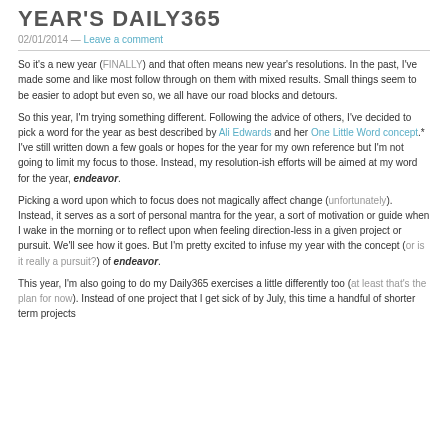YEAR'S DAILY365
02/01/2014 — Leave a comment
So it's a new year (FINALLY) and that often means new year's resolutions. In the past, I've made some and like most follow through on them with mixed results. Small things seem to be easier to adopt but even so, we all have our road blocks and detours.
So this year, I'm trying something different. Following the advice of others, I've decided to pick a word for the year as best described by Ali Edwards and her One Little Word concept.* I've still written down a few goals or hopes for the year for my own reference but I'm not going to limit my focus to those. Instead, my resolution-ish efforts will be aimed at my word for the year, endeavor.
Picking a word upon which to focus does not magically affect change (unfortunately). Instead, it serves as a sort of personal mantra for the year, a sort of motivation or guide when I wake in the morning or to reflect upon when feeling direction-less in a given project or pursuit. We'll see how it goes. But I'm pretty excited to infuse my year with the concept (or is it really a pursuit?) of endeavor.
This year, I'm also going to do my Daily365 exercises a little differently too (at least that's the plan for now). Instead of one project that I get sick of by July, this time a handful of shorter term projects